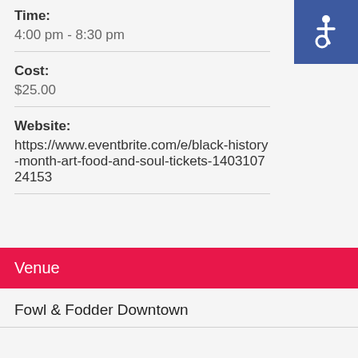Time:
4:00 pm - 8:30 pm
Cost:
$25.00
Website:
https://www.eventbrite.com/e/black-history-month-art-food-and-soul-tickets-140310724153
[Figure (other): Accessibility icon - wheelchair symbol on blue square background]
Venue
Fowl & Fodder Downtown